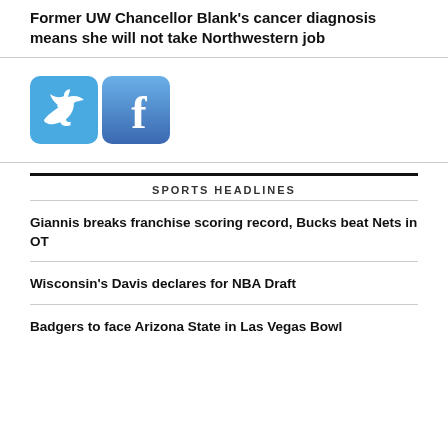Former UW Chancellor Blank’s cancer diagnosis means she will not take Northwestern job
[Figure (illustration): Twitter and Facebook social media icons side by side]
SPORTS HEADLINES
Giannis breaks franchise scoring record, Bucks beat Nets in OT
Wisconsin’s Davis declares for NBA Draft
Badgers to face Arizona State in Las Vegas Bowl